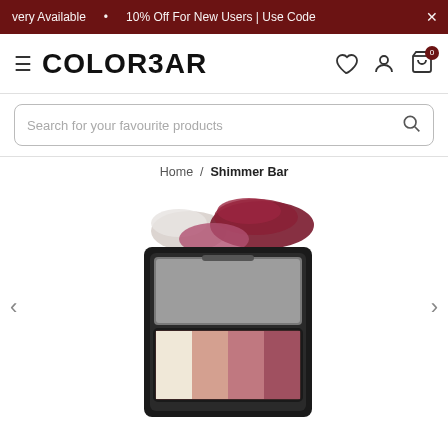very Available · 10% Off For New Users | Use Code
[Figure (logo): Colorbar logo with hamburger menu and nav icons (heart, user, cart with badge 0)]
Search for your favourite products
Home / Shimmer Bar
[Figure (photo): Colorbar Shimmer Bar makeup compact with open lid showing mirror and four shimmer shades (cream, nude, pink, rose), with pigment swatches of silver and crimson above]